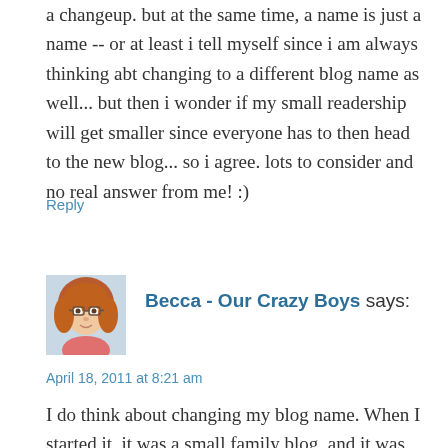a changeup. but at the same time, a name is just a name -- or at least i tell myself since i am always thinking abt changing to a different blog name as well... but then i wonder if my small readership will get smaller since everyone has to then head to the new blog... so i agree. lots to consider and no real answer from me! :)
Reply
[Figure (photo): Avatar photo of a woman with glasses and reddish hair]
Becca - Our Crazy Boys says:
April 18, 2011 at 8:21 am
I do think about changing my blog name. When I started it, it was a small family blog, and it was "our" crazy boys because it was about our family. The blog